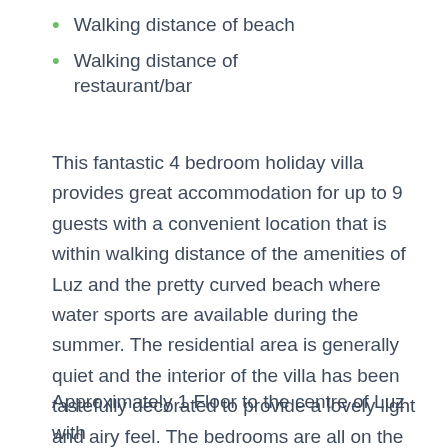Walking distance of beach
Walking distance of restaurant/bar
This fantastic 4 bedroom holiday villa provides great accommodation for up to 9 guests with a convenient location that is within walking distance of the amenities of Luz and the pretty curved beach where water sports are available during the summer. The residential area is generally quiet and the interior of the villa has been tastefully decorated to provide a lovely light and airy feel. The bedrooms are all on the lower level with the living accommodation on the first floor to take advantage of the glorious sea views.
Approximately 1 Floor to the centre of Luz with